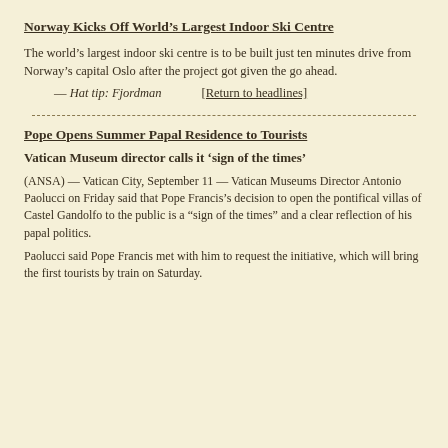Norway Kicks Off World's Largest Indoor Ski Centre
The world's largest indoor ski centre is to be built just ten minutes drive from Norway's capital Oslo after the project got given the go ahead.
— Hat tip: Fjordman    [Return to headlines]
Pope Opens Summer Papal Residence to Tourists
Vatican Museum director calls it 'sign of the times'
(ANSA) — Vatican City, September 11 — Vatican Museums Director Antonio Paolucci on Friday said that Pope Francis's decision to open the pontifical villas of Castel Gandolfo to the public is a "sign of the times" and a clear reflection of his papal politics.
Paolucci said Pope Francis met with him to request the initiative, which will bring the first tourists by train on Saturday.